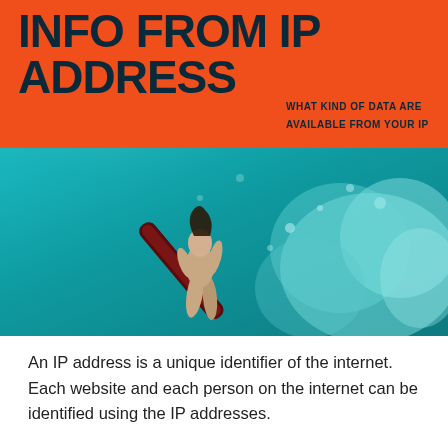INFO FROM IP ADDRESS
WHAT KIND OF DATA ARE AVAILABLE FROM YOUR IP
[Figure (photo): Underwater photograph of a surfer diving beneath a wave with surfboard, teal/turquoise water with bubbles and light rays]
An IP address is a unique identifier of the internet. Each website and each person on the internet can be identified using the IP addresses.
Computers can connect to each other using a naming system which makes it possible to share data. A standard IP address (IPv4) is a set of four individual numbers which are separated by full